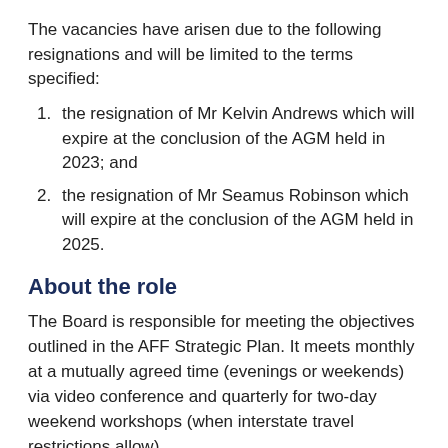The vacancies have arisen due to the following resignations and will be limited to the terms specified:
the resignation of Mr Kelvin Andrews which will expire at the conclusion of the AGM held in 2023; and
the resignation of Mr Seamus Robinson which will expire at the conclusion of the AGM held in 2025.
About the role
The Board is responsible for meeting the objectives outlined in the AFF Strategic Plan. It meets monthly at a mutually agreed time (evenings or weekends) via video conference and quarterly for two-day weekend workshops (when interstate travel restrictions allow).
Directorships are honorary but travel expenses are